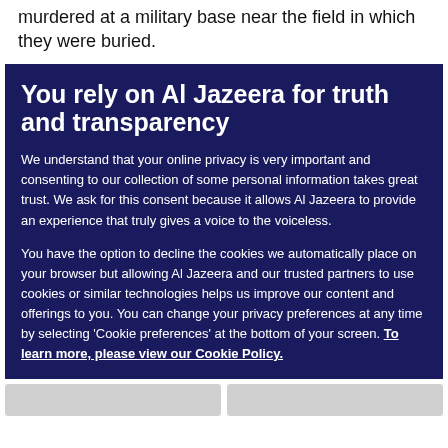murdered at a military base near the field in which they were buried.
You rely on Al Jazeera for truth and transparency
We understand that your online privacy is very important and consenting to our collection of some personal information takes great trust. We ask for this consent because it allows Al Jazeera to provide an experience that truly gives a voice to the voiceless.

You have the option to decline the cookies we automatically place on your browser but allowing Al Jazeera and our trusted partners to use cookies or similar technologies helps us improve our content and offerings to you. You can change your privacy preferences at any time by selecting 'Cookie preferences' at the bottom of your screen. To learn more, please view our Cookie Policy.